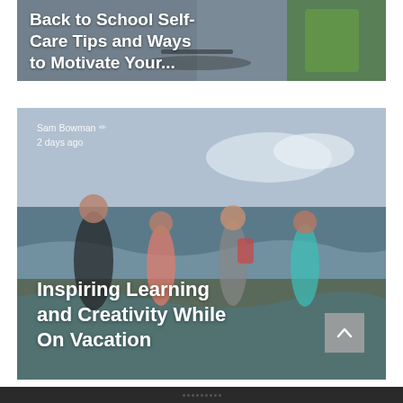[Figure (screenshot): Partial blog card image showing a desk/school scene with text overlay reading 'Back to School Self-Care Tips and Ways to Motivate Your...']
Back to School Self-Care Tips and Ways to Motivate Your...
[Figure (photo): Blog card showing children running and playing in ocean waves at a beach, with author info 'Sam Bowman' '2 days ago' and a scroll-to-top button]
Sam Bowman
2 days ago
Inspiring Learning and Creativity While On Vacation
[Figure (screenshot): Bottom dark bar/stub of the page]